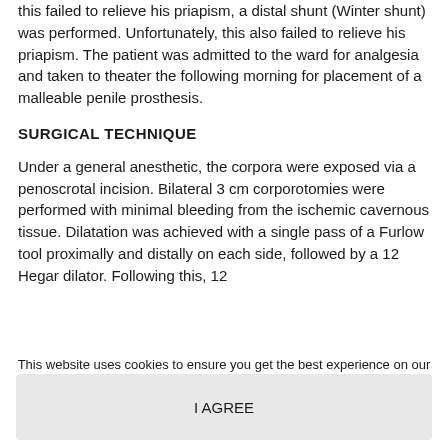this failed to relieve his priapism, a distal shunt (Winter shunt) was performed. Unfortunately, this also failed to relieve his priapism. The patient was admitted to the ward for analgesia and taken to theater the following morning for placement of a malleable penile prosthesis.
SURGICAL TECHNIQUE
Under a general anesthetic, the corpora were exposed via a penoscrotal incision. Bilateral 3 cm corporotomies were performed with minimal bleeding from the ischemic cavernous tissue. Dilatation was achieved with a single pass of a Furlow tool proximally and distally on each side, followed by a 12 Hegar dilator. Following this, 12
This website uses cookies to ensure you get the best experience on our website. Privacy Policy
I AGREE